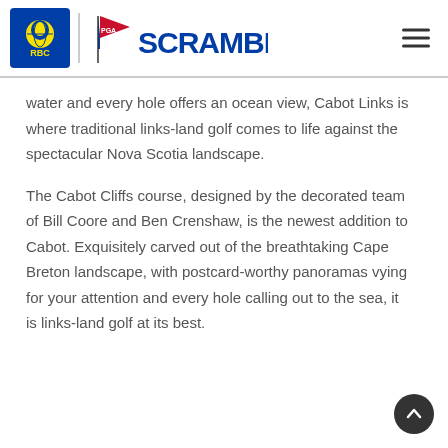[Figure (logo): RBC bank logo (lion and globe in yellow/blue) with text RBC, followed by PGA flag logo and SCRAMBLE text in blue]
water and every hole offers an ocean view, Cabot Links is where traditional links-land golf comes to life against the spectacular Nova Scotia landscape.
The Cabot Cliffs course, designed by the decorated team of Bill Coore and Ben Crenshaw, is the newest addition to Cabot. Exquisitely carved out of the breathtaking Cape Breton landscape, with postcard-worthy panoramas vying for your attention and every hole calling out to the sea, it is links-land golf at its best.